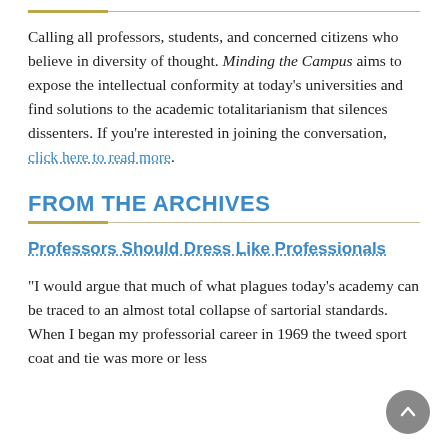Calling all professors, students, and concerned citizens who believe in diversity of thought. Minding the Campus aims to expose the intellectual conformity at today's universities and find solutions to the academic totalitarianism that silences dissenters. If you're interested in joining the conversation, click here to read more.
FROM THE ARCHIVES
Professors Should Dress Like Professionals
"I would argue that much of what plagues today's academy can be traced to an almost total collapse of sartorial standards. When I began my professorial career in 1969 the tweed sport coat and tie was more or less